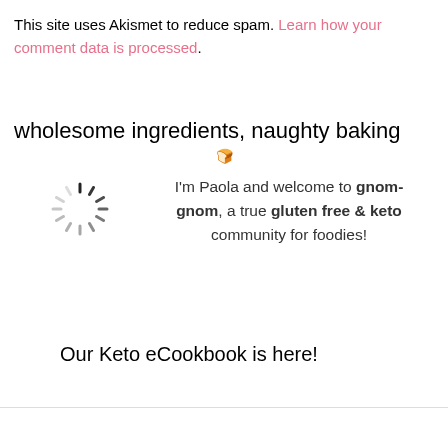This site uses Akismet to reduce spam. Learn how your comment data is processed.
wholesome ingredients, naughty baking 🍞
[Figure (illustration): Loading spinner icon — circular arrangement of short dashes radiating outward like a clock, in dark grey/black.]
I'm Paola and welcome to gnom-gnom, a true gluten free & keto community for foodies!
Our Keto eCookbook is here!